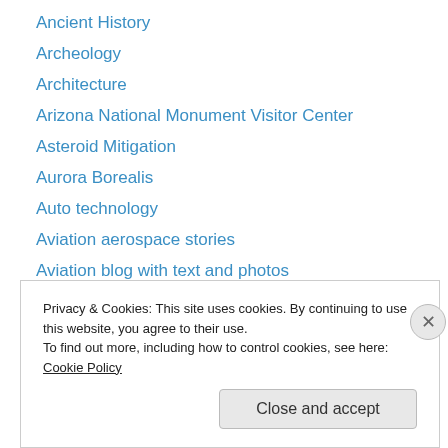Ancient History
Archeology
Architecture
Arizona National Monument Visitor Center
Asteroid Mitigation
Aurora Borealis
Auto technology
Aviation aerospace stories
Aviation blog with text and photos
Aviation event photo essay.
aviation multimedia presentation
Blended learning
Blended learning website
Privacy & Cookies: This site uses cookies. By continuing to use this website, you agree to their use.
To find out more, including how to control cookies, see here: Cookie Policy
Close and accept